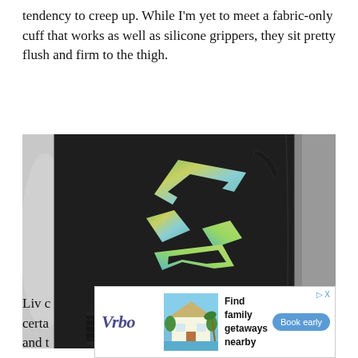tendency to creep up. While I'm yet to meet a fabric-only cuff that works as well as silicone grippers, they sit pretty flush and firm to the thigh.
[Figure (photo): Close-up photo of black cycling bib shorts on a mannequin, showing an iridescent/holographic brand logo on the thigh area and a fabric cuff at the bottom of the leg.]
Liv c… certa… be, and t… raps.
[Figure (other): Vrbo advertisement overlay showing the Vrbo logo, a beach house image, text 'Find family getaways nearby', a 'Book early' button, and a DX indicator. An X close button is visible at the top right of the ad area.]